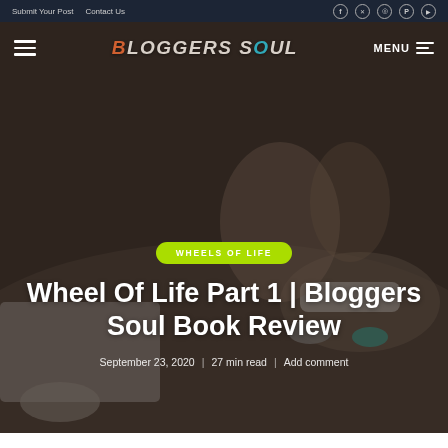Submit Your Post  Contact Us
[Figure (screenshot): BloggersSoul website header with logo showing stylized text 'BLOGGERS SOUL' with orange and teal accents, hamburger menu icons, and MENU label]
WHEELS OF LIFE
Wheel Of Life Part 1 | Bloggers Soul Book Review
September 23, 2020  |  27 min read  |  Add comment